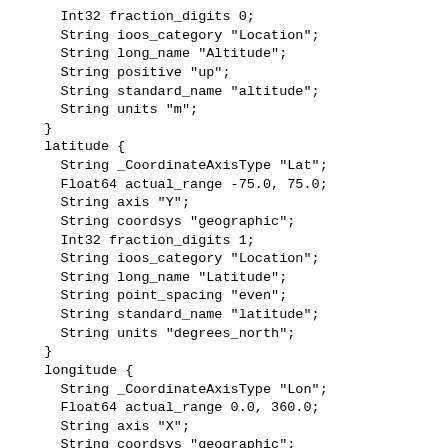Int32 fraction_digits 0;
    String ioos_category "Location";
    String long_name "Altitude";
    String positive "up";
    String standard_name "altitude";
    String units "m";
  }
  latitude {
    String _CoordinateAxisType "Lat";
    Float64 actual_range -75.0, 75.0;
    String axis "Y";
    String coordsys "geographic";
    Int32 fraction_digits 1;
    String ioos_category "Location";
    String long_name "Latitude";
    String point_spacing "even";
    String standard_name "latitude";
    String units "degrees_north";
  }
  longitude {
    String _CoordinateAxisType "Lon";
    Float64 actual_range 0.0, 360.0;
    String axis "X";
    String coordsys "geographic";
    Int32 fraction_digits 1;
    String ioos_category "Location";